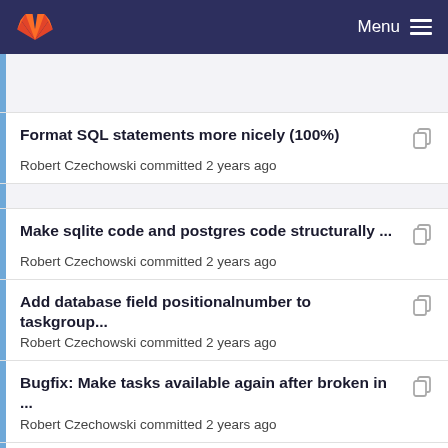Menu
Format SQL statements more nicely (100%)
Robert Czechowski committed 2 years ago
Make sqlite code and postgres code structurally ...
Robert Czechowski committed 2 years ago
Add database field positionalnumber to taskgroup...
Robert Czechowski committed 2 years ago
Bugfix: Make tasks available again after broken in ...
Robert Czechowski committed 2 years ago
Add database field positionalnumber to taskgroup...
Robert Czechowski committed 2 years ago
Add database field 'active' for 'taskgroup'. Reset it...
Robert Czechowski committed 2 years ago